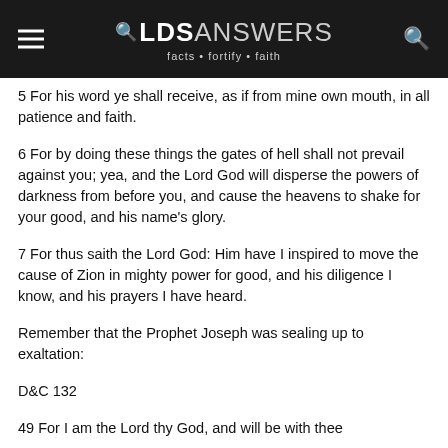LDS ANSWERS — facts · fortify · faith
5 For his word ye shall receive, as if from mine own mouth, in all patience and faith.
6 For by doing these things the gates of hell shall not prevail against you; yea, and the Lord God will disperse the powers of darkness from before you, and cause the heavens to shake for your good, and his name's glory.
7 For thus saith the Lord God: Him have I inspired to move the cause of Zion in mighty power for good, and his diligence I know, and his prayers I have heard.
Remember that the Prophet Joseph was sealing up to exaltation:
D&C 132
49 For I am the Lord thy God, and will be with thee